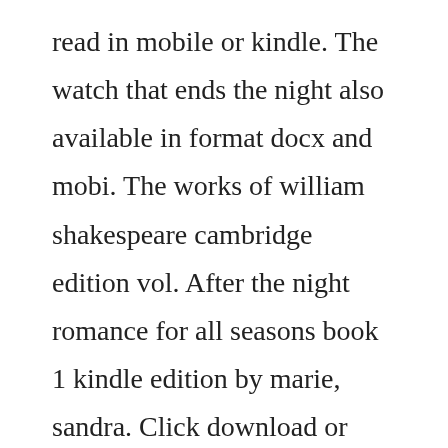read in mobile or kindle. The watch that ends the night also available in format docx and mobi. The works of william shakespeare cambridge edition vol. After the night romance for all seasons book 1 kindle edition by marie, sandra. Click download or read online button to get the watch that ends the night book now. To start with, a mysterious, devastatingly handsome man. Big library read blr, facilitated by overdrive, is a reading program through your library that connects readers around the world with the same ebook at the same time, without a wait list...